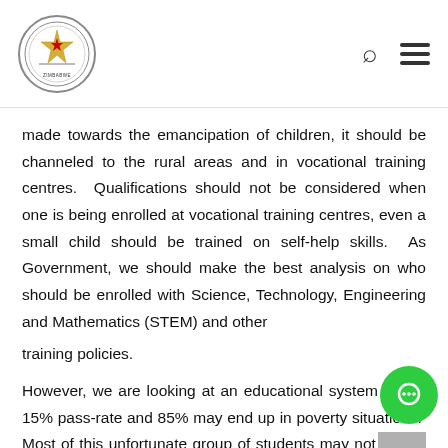Parliament of Zimbabwe
made towards the emancipation of children, it should be channeled to the rural areas and in vocational training centres. Qualifications should not be considered when one is being enrolled at vocational training centres, even a small child should be trained on self-help skills. As Government, we should make the best analysis on who should be enrolled with Science, Technology, Engineering and Mathematics (STEM) and other
training policies.
However, we are looking at an educational system with a 15% pass-rate and 85% may end up in poverty situations. Most of this unfortunate group of students may not qualify in any other Government programmes